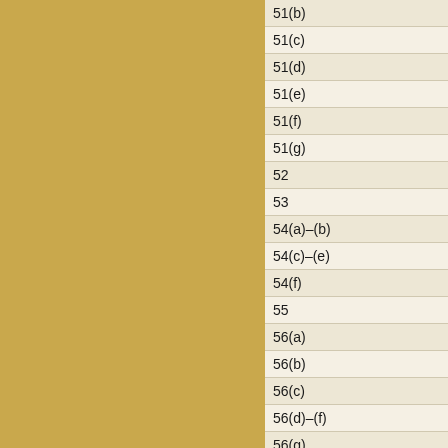| Section | Reference |
| --- | --- |
| 51(b) | 6012(b)(1), 6... |
| 51(c) | 6012(b) |
| 51(d) | Omitted. See... |
| 51(e) | 6065(a) |
| 51(f) | 6014(a), (b),... |
| 51(g) | 6012(b), 601... |
| 52 | 6012(a), (b),... |
| 53 | 6072, 6081, 6... |
| 54(a)–(b) | 6001 |
| 54(c)–(e) | Omitted |
| 54(f) | 6033(a), 606... |
| 55 | 6103, 7213(a... |
| 56(a) | 6151(a) |
| 56(b) | 6152, 6601(c... |
| 56(c) | 6161(a), 616... |
| 56(d)–(f) | Omitted |
| 56(g) | 6313 |
| 56(h) | Omitted |
| 56(i) | 6151(b) |
| 56(j), 57 | Omitted |
| 58 | 6012(b), 601... |
| 59(a)–(c) | 6153 |
| 59(d) | 6201(b), 631... |
| 60 | 6015(g), 607... |